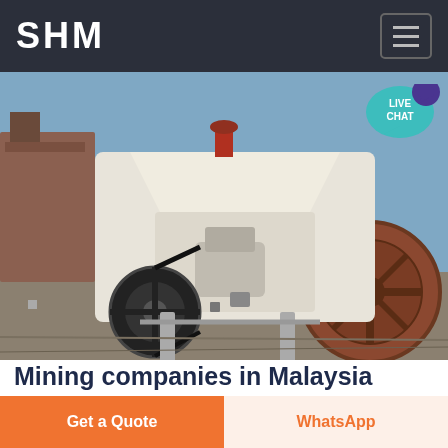SHM
[Figure (photo): Industrial mining crushing machinery (white jaw crusher) with large black flywheel and red/brown machinery in background, outdoors on a gravel yard with blue sky.]
Mining companies in Malaysia
Mining companies in Malaysia including Kuala Lumpur Raub Kuching and more Company List Search Search Company List Malaysia Mining Mining companies in